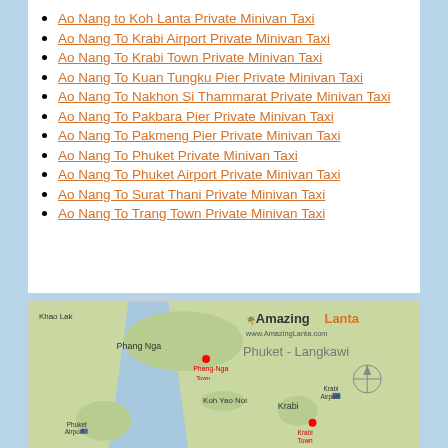Ao Nang to Koh Lanta Private Minivan Taxi
Ao Nang To Krabi Airport Private Minivan Taxi
Ao Nang To Krabi Town Private Minivan Taxi
Ao Nang To Kuan Tungku Pier Private Minivan Taxi
Ao Nang To Nakhon Si Thammarat Private Minivan Taxi
Ao Nang To Pakbara Pier Private Minivan Taxi
Ao Nang To Pakmeng Pier Private Minivan Taxi
Ao Nang To Phuket Private Minivan Taxi
Ao Nang To Phuket Airport Private Minivan Taxi
Ao Nang To Surat Thani Private Minivan Taxi
Ao Nang To Trang Town Private Minivan Taxi
[Figure (map): Map of southern Thailand showing Phang Nga, Krabi, Phuket area with Amazing Lanta branding and www.AmazingLanta.com, subtitle Phuket - Langkawi]